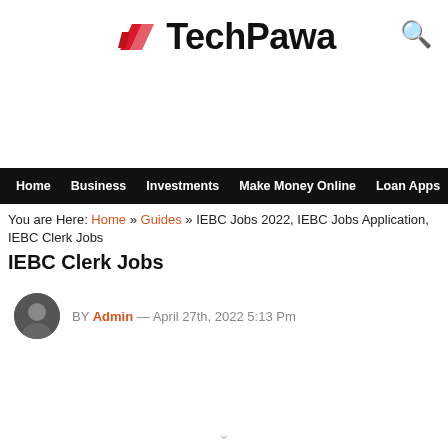TechPawa
Home  Business  Investments  Make Money Online  Loan Apps
You are Here: Home » Guides » IEBC Jobs 2022, IEBC Jobs Application, IEBC Clerk Jobs
IEBC Jobs 2022, IEBC Jobs Application, IEBC Clerk Jobs
BY Admin — April 27th, 2022 5:13 Pm